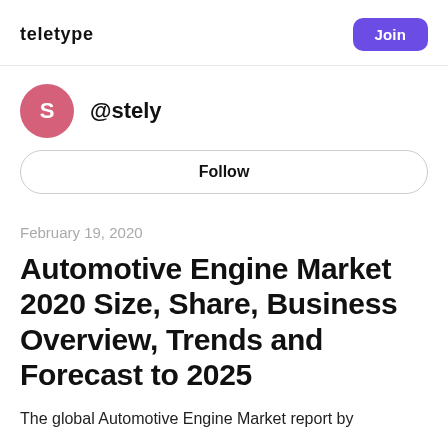teletype
@stely
Follow
February 19, 2020
Automotive Engine Market 2020 Size, Share, Business Overview, Trends and Forecast to 2025
The global Automotive Engine Market report by